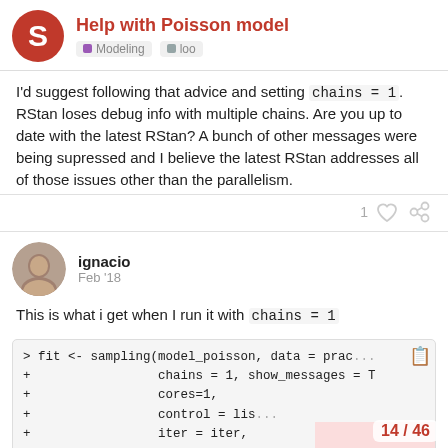Help with Poisson model — Modeling / loo
I'd suggest following that advice and setting chains = 1. RStan loses debug info with multiple chains. Are you up to date with the latest RStan? A bunch of other messages were being supressed and I believe the latest RStan addresses all of those issues other than the parallelism.
ignacio  Feb '18
This is what i get when I run it with chains = 1
> fit <- sampling(model_poisson, data = prac...
+                 chains = 1, show_messages = T
+                 cores=1,
+                 control = lis'...  ... ...
+                 iter = iter,
+                 warmup = warm...